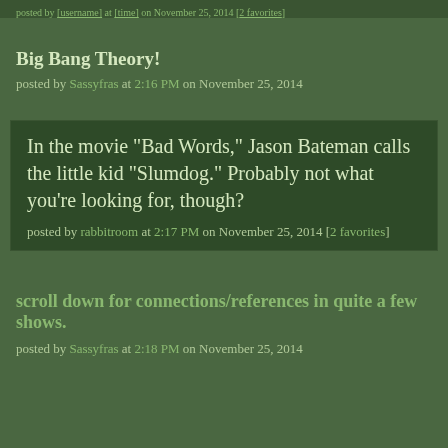posted by [username] at [time] on November 25, 2014 [2 favorites]
Big Bang Theory!
posted by Sassyfras at 2:16 PM on November 25, 2014
In the movie "Bad Words," Jason Bateman calls the little kid "Slumdog." Probably not what you're looking for, though?
posted by rabbitroom at 2:17 PM on November 25, 2014 [2 favorites]
scroll down for connections/references in quite a few shows.
posted by Sassyfras at 2:18 PM on November 25, 2014